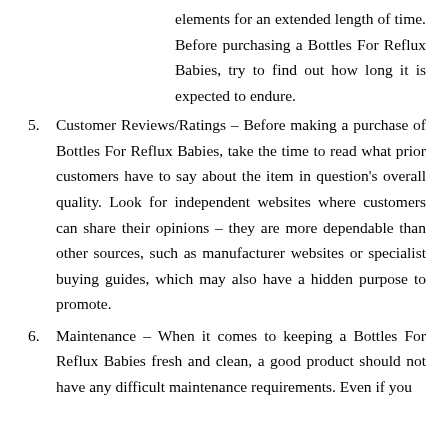elements for an extended length of time. Before purchasing a Bottles For Reflux Babies, try to find out how long it is expected to endure.
5. Customer Reviews/Ratings – Before making a purchase of Bottles For Reflux Babies, take the time to read what prior customers have to say about the item in question's overall quality. Look for independent websites where customers can share their opinions – they are more dependable than other sources, such as manufacturer websites or specialist buying guides, which may also have a hidden purpose to promote.
6. Maintenance – When it comes to keeping a Bottles For Reflux Babies fresh and clean, a good product should not have any difficult maintenance requirements. Even if you